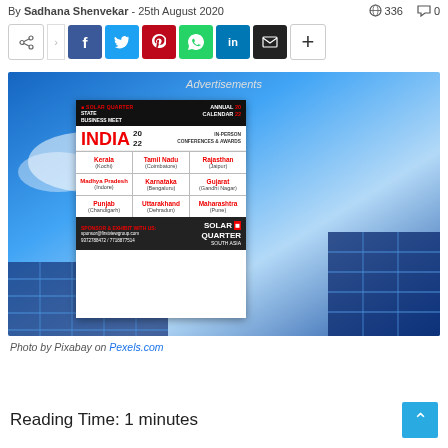By Sadhana Shenvekar - 25th August 2020   336   0
[Figure (screenshot): Social sharing buttons: share arrow, Facebook, Twitter, Pinterest, WhatsApp, LinkedIn, Email, plus]
[Figure (photo): Solar panel background image with an advertisement overlay for Solar Quarter State Business Meet India 2022, featuring grid of Indian states: Kerala (Kochi), Tamil Nadu (Coimbatore), Rajasthan (Jaipur), Madhya Pradesh (Indore), Karnataka (Bengaluru), Gujarat (Gandhi Nagar), Punjab (Chandigarh), Uttarakhand (Dehradun), Maharashtra (Pune)]
Photo by Pixabay on Pexels.com
Reading Time: 1 minutes